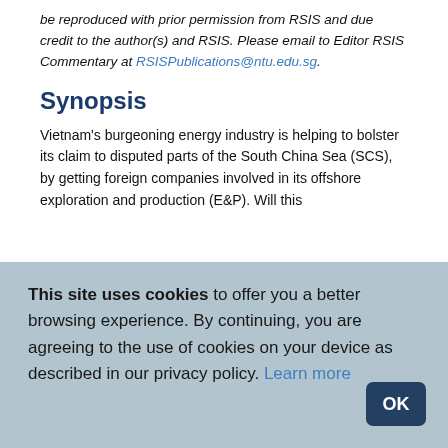be reproduced with prior permission from RSIS and due credit to the author(s) and RSIS. Please email to Editor RSIS Commentary at RSISPublications@ntu.edu.sg.
Synopsis
Vietnam's burgeoning energy industry is helping to bolster its claim to disputed parts of the South China Sea (SCS), by getting foreign companies involved in its offshore exploration and production (E&P). Will this
This site uses cookies to offer you a better browsing experience. By continuing, you are agreeing to the use of cookies on your device as described in our privacy policy. Learn more